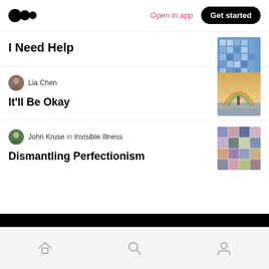Medium logo | Open in app | Get started
I Need Help
Lia Chen
It’ll Be Okay
John Kruse in Invisible Illness
Dismantling Perfectionism
Home | Search | Profile